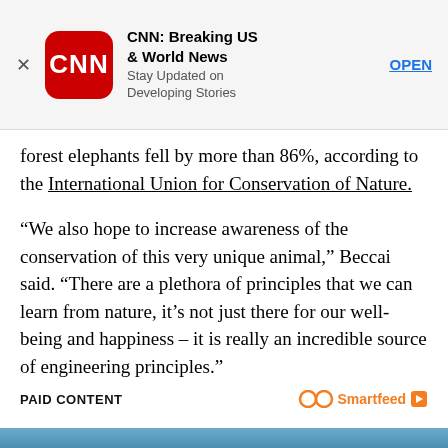[Figure (screenshot): CNN app advertisement banner with CNN logo (red rounded square), title 'CNN: Breaking US & World News', subtitle 'Stay Updated on Developing Stories', and OPEN button. Has an X close button on the left.]
forest elephants fell by more than 86%, according to the International Union for Conservation of Nature.
“We also hope to increase awareness of the conservation of this very unique animal,” Beccai said. “There are a plethora of principles that we can learn from nature, it’s not just there for our well-being and happiness – it is really an incredible source of engineering principles.”
PAID CONTENT   Smartfeed